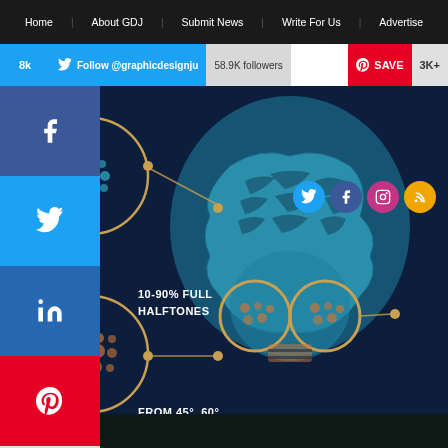Home | About GDJ | Submit News | Write For Us | Advertise
Follow @graphicdesignju  58.9K followers  SAVE  3K+
[Figure (illustration): Graphic design resource page showing a halftone-style illustration of a human head/brain with circular zoom callouts highlighting halftone dot patterns. Labels on the illustration read: '10-90% FULL HALFTONES' and 'FROM 45°, 60° SCREEN ANGLES'. Side social share buttons for Facebook, Twitter, LinkedIn, Pinterest, and More are shown on the left. Social media icons (Twitter, Facebook, Instagram, RSS) appear on the right side of the illustration.]
10-90% FULL HALFTONES
FROM 45°, 60° SCREEN ANGLES